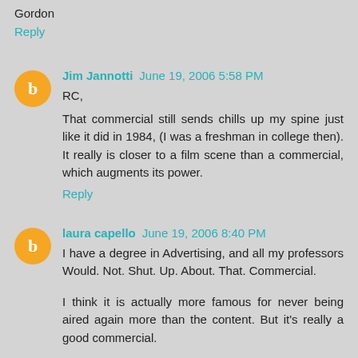Gordon
Reply
Jim Jannotti  June 19, 2006 5:58 PM
RC,
That commercial still sends chills up my spine just like it did in 1984, (I was a freshman in college then). It really is closer to a film scene than a commercial, which augments its power.
Reply
laura capello  June 19, 2006 8:40 PM
I have a degree in Advertising, and all my professors Would. Not. Shut. Up. About. That. Commercial.
I think it is actually more famous for never being aired again more than the content. But it's really a good commercial.